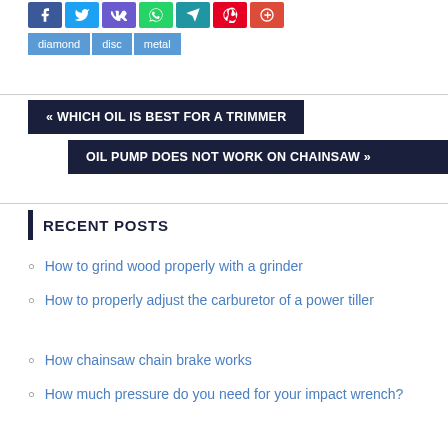[Figure (other): Row of social media share buttons: Facebook, Twitter, VK, WhatsApp, Telegram, Pinterest, Google+]
diamond
disc
metal
« WHICH OIL IS BEST FOR A TRIMMER
OIL PUMP DOES NOT WORK ON CHAINSAW »
RECENT POSTS
How to grind wood properly with a grinder
How to properly adjust the carburetor of a power tiller
How chainsaw chain brake works
How much pressure do you need for your impact wrench?